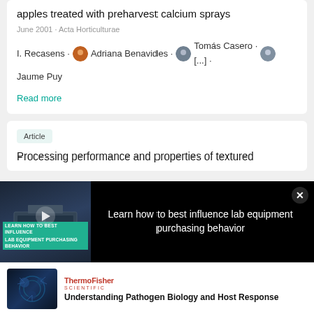apples treated with preharvest calcium sprays
June 2001 · Acta Horticulturae
I. Recasens · Adriana Benavides · Tomás Casero · [...] · Jaume Puy
Read more
Article
Processing performance and properties of textured
[Figure (screenshot): Video advertisement overlay showing lab equipment with text 'Learn how to best influence lab equipment purchasing behavior' and a play button]
[Figure (photo): Thermo Fisher Scientific advertisement with virus/pathogen image and text 'Understanding Pathogen Biology and Host Response']